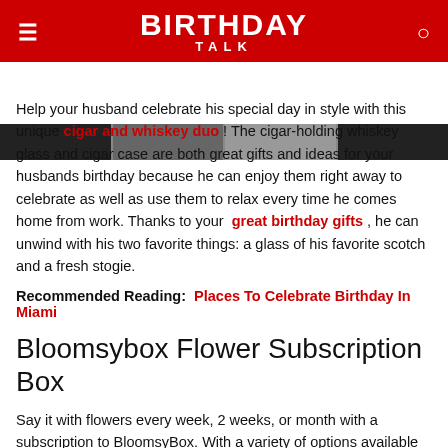BIRTHDAY TALK
[Figure (photo): Strip of dark images at top of page]
Help your husband celebrate his special day in style with this unique cigar and whiskey duo ! The cigar-holding whiskey glass and cigar case are both great gifts and ideas for your husbands birthday because he can enjoy them right away to celebrate as well as use them to relax every time he comes home from work. Thanks to your great birthday gifts , he can unwind with his two favorite things: a glass of his favorite scotch and a fresh stogie.
Recommended Reading: Places To Celebrate Birthday In Miami
Bloomsybox Flower Subscription Box
Say it with flowers every week, 2 weeks, or month with a subscription to BloomsyBox. With a variety of options available including roses you can